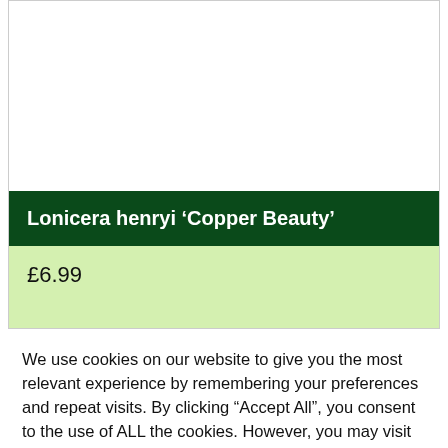[Figure (photo): White empty product image area for a plant product]
Lonicera henryi 'Copper Beauty'
£6.99
We use cookies on our website to give you the most relevant experience by remembering your preferences and repeat visits. By clicking "Accept All", you consent to the use of ALL the cookies. However, you may visit "Cookie Settings" to provide a controlled consent.